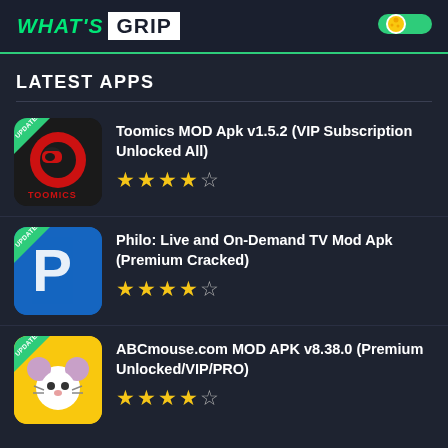WHAT'S GRIP
LATEST APPS
Toomics MOD Apk v1.5.2 (VIP Subscription Unlocked All) — 3.5 stars
Philo: Live and On-Demand TV Mod Apk (Premium Cracked) — 4.5 stars
ABCmouse.com MOD APK v8.38.0 (Premium Unlocked/VIP/PRO) — 4.5 stars